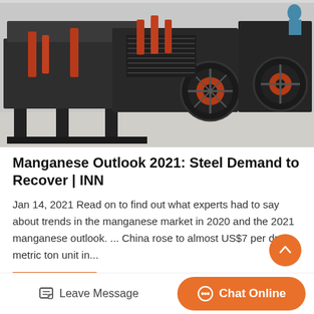[Figure (photo): Industrial mining/crushing machinery with dark metal frames and orange/red wheel components, multiple large machines in an outdoor or warehouse setting.]
Manganese Outlook 2021: Steel Demand to Recover | INN
Jan 14, 2021 Read on to find out what experts had to say about trends in the manganese market in 2020 and the 2021 manganese outlook. ... China rose to almost US$7 per dry metric ton unit in...